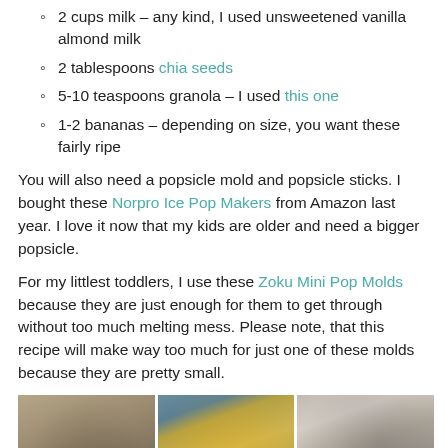2 cups milk – any kind, I used unsweetened vanilla almond milk
2 tablespoons chia seeds
5-10 teaspoons granola – I used this one
1-2 bananas – depending on size, you want these fairly ripe
You will also need a popsicle mold and popsicle sticks. I bought these Norpro Ice Pop Makers from Amazon last year. I love it now that my kids are older and need a bigger popsicle.
For my littlest toddlers, I use these Zoku Mini Pop Molds because they are just enough for them to get through without too much melting mess. Please note, that this recipe will make way too much for just one of these molds because they are pretty small.
[Figure (photo): Three photos showing recipe preparation steps: (1) a glass with chia seed mixture (gray/brown), (2) a bowl with mashed banana (yellow), (3) a container with chia pudding being stirred]